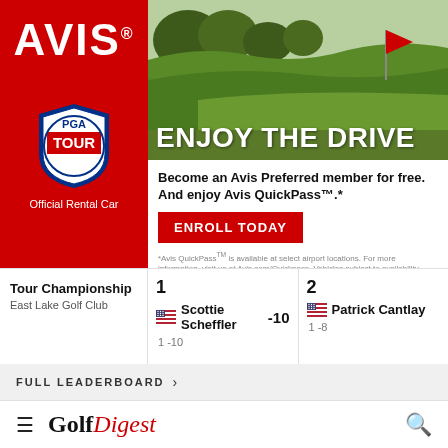[Figure (illustration): Avis advertisement with golf course background. Left panel: red background with AVIS logo and PGA TOUR Official Rental Car badge. Right panel: golf course with flag, 'ENJOY THE DRIVE' headline, enrollment CTA and footnote.]
Become an Avis Preferred member for free. And enjoy Avis QuickPass™.*
ENROLL TODAY
*Avis QuickPass™ is available at select airport locations. For more information, visit us at Avis.com/Quickpass. Vehicles subject to availability.
| Position | Player | Score | Round |
| --- | --- | --- | --- |
| 1 | Scottie Scheffler | -10 | 1 -10 |
| 2 | Patrick Cantlay |  | 1 -8 |
Tour Championship
East Lake Golf Club
FULL LEADERBOARD
[Figure (logo): Golf Digest logo with hamburger menu and search icon navigation bar]